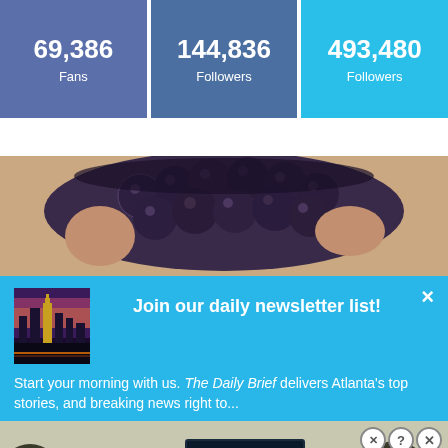| Fans | Followers | Followers |
| --- | --- | --- |
| 69,386 | 144,836 | 493,480 |
[Figure (photo): Close-up photo of hands holding dark blueberries/grapes]
Join our daily newsletter list!
[Figure (photo): City skyline at dusk with illuminated highway and pink/purple sky]
Start your morning with us. The Daily Brief delivers Atlanta's top stories, and breaking news right to...
[Figure (photo): Advertisement banner showing a road/highway scene with 'Hold and Move' text overlay]